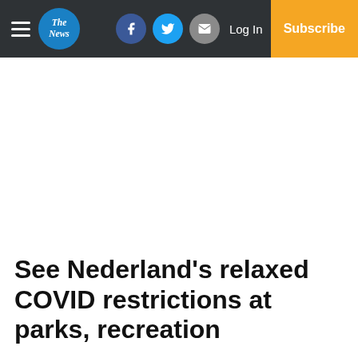The News — Log In | Subscribe
See Nederland's relaxed COVID restrictions at parks, recreation